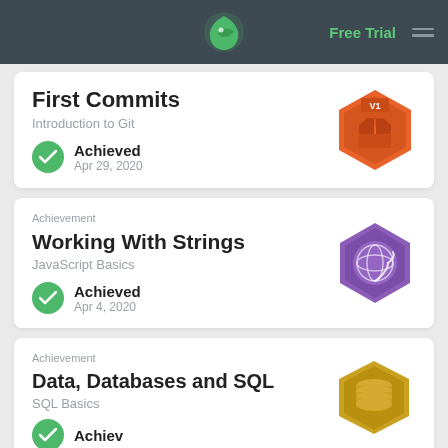Free Trial
First Commits
Introduction to Git
Achieved
Apr 29, 2020
[Figure (illustration): Orange hexagonal badge with V1 label and a box/package icon]
Achievement
Working With Strings
JavaScript Basics
Achieved
Apr 4, 2020
[Figure (illustration): Purple hexagonal badge with a yarn/string ball icon]
Achievement
Data, Databases and SQL
SQL Basics
Achieved
[Figure (illustration): Gold/yellow hexagonal badge with a database stack icon]